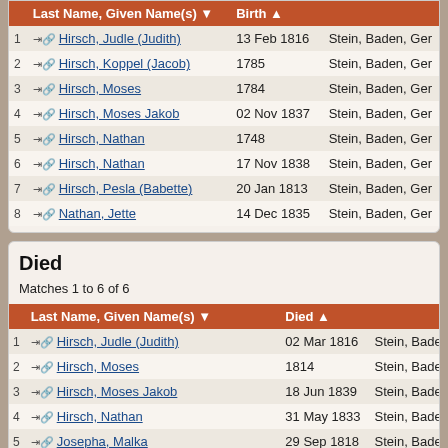|  | Last Name, Given Name(s) | Birth |  |
| --- | --- | --- | --- |
| 1 | Hirsch, Judle (Judith) | 13 Feb 1816 | Stein, Baden, Ger... |
| 2 | Hirsch, Koppel (Jacob) | 1785 | Stein, Baden, Ger... |
| 3 | Hirsch, Moses | 1784 | Stein, Baden, Ger... |
| 4 | Hirsch, Moses Jakob | 02 Nov 1837 | Stein, Baden, Ger... |
| 5 | Hirsch, Nathan | 1748 | Stein, Baden, Ger... |
| 6 | Hirsch, Nathan | 17 Nov 1838 | Stein, Baden, Ger... |
| 7 | Hirsch, Pesla (Babette) | 20 Jan 1813 | Stein, Baden, Ger... |
| 8 | Nathan, Jette | 14 Dec 1835 | Stein, Baden, Ger... |
Died
Matches 1 to 6 of 6
|  | Last Name, Given Name(s) | Died |  |
| --- | --- | --- | --- |
| 1 | Hirsch, Judle (Judith) | 02 Mar 1816 | Stein, Baden,... |
| 2 | Hirsch, Moses | 1814 | Stein, Baden,... |
| 3 | Hirsch, Moses Jakob | 18 Jun 1839 | Stein, Baden,... |
| 4 | Hirsch, Nathan | 31 May 1833 | Stein, Baden,... |
| 5 | Josepha, Malka | 29 Sep 1818 | Stein, Baden,... |
| 6 | Sinauer, Schönle (Schannet; Chanet) | 25 Sep 1825 | Stein, Baden,... |